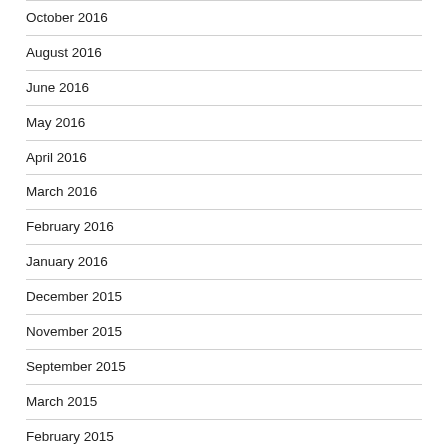October 2016
August 2016
June 2016
May 2016
April 2016
March 2016
February 2016
January 2016
December 2015
November 2015
September 2015
March 2015
February 2015
July 2014